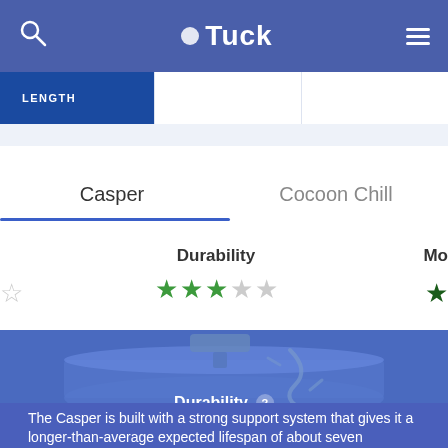Tuck
LENGTH
Casper
Cocoon Chill
Durability
[Figure (illustration): Illustration of a mattress being pressed/dented, shown in blue tones on a blue background]
Durability ?
The Casper is built with a strong support system that gives it a longer-than-average expected lifespan of about seven